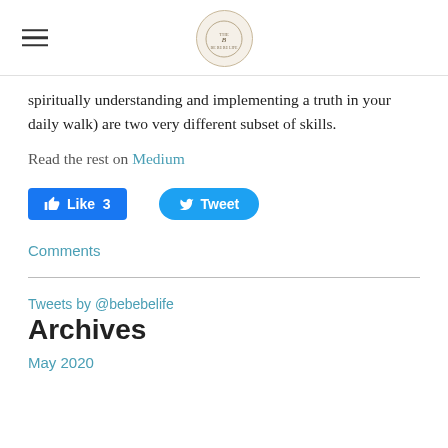Navigation header with hamburger menu and site logo
spiritually understanding and implementing a truth in your daily walk) are two very different subset of skills.
Read the rest on Medium
[Figure (screenshot): Facebook Like button showing count of 3 and Twitter Tweet button]
Comments
Tweets by @bebebelife
Archives
May 2020